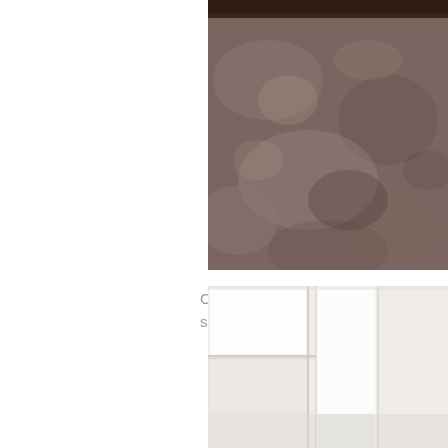[Figure (photo): A close-up photograph of a carpet or rug surface in brown/grey tones, partially visible on the right side of the page. A dark wooden edge is visible at the top.]
Clean lines, intellig sure to show up in
[Figure (photo): A photograph showing white modern kitchen or bathroom cabinetry with clean lines, partially visible on the lower right of the page.]